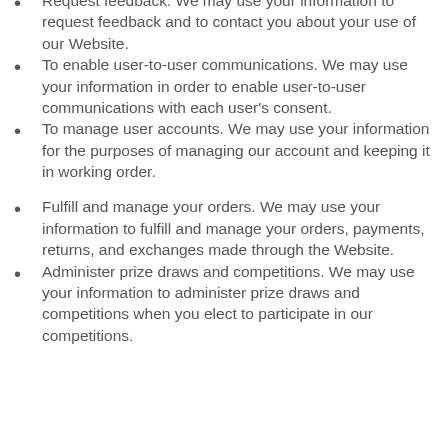Request feedback. We may use your information to request feedback and to contact you about your use of our Website.
To enable user-to-user communications. We may use your information in order to enable user-to-user communications with each user's consent.
To manage user accounts. We may use your information for the purposes of managing our account and keeping it in working order.
Fulfill and manage your orders. We may use your information to fulfill and manage your orders, payments, returns, and exchanges made through the Website.
Administer prize draws and competitions. We may use your information to administer prize draws and competitions when you elect to participate in our competitions.